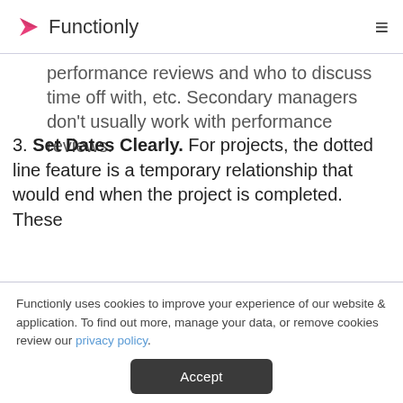Functionly
performance reviews and who to discuss time off with, etc. Secondary managers don't usually work with performance reviews.
3. Set Dates Clearly. For projects, the dotted line feature is a temporary relationship that would end when the project is completed. These
Functionly uses cookies to improve your experience of our website & application. To find out more, manage your data, or remove cookies review our privacy policy.
Accept